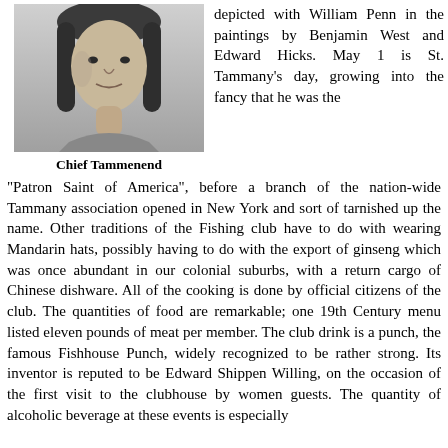[Figure (photo): Black and white portrait photograph of Chief Tammenend, a Native American man with long dark hair]
Chief Tammenend
depicted with William Penn in the paintings by Benjamin West and Edward Hicks. May 1 is St. Tammany's day, growing into the fancy that he was the "Patron Saint of America", before a branch of the nation-wide Tammany association opened in New York and sort of tarnished up the name. Other traditions of the Fishing club have to do with wearing Mandarin hats, possibly having to do with the export of ginseng which was once abundant in our colonial suburbs, with a return cargo of Chinese dishware. All of the cooking is done by official citizens of the club. The quantities of food are remarkable; one 19th Century menu listed eleven pounds of meat per member. The club drink is a punch, the famous Fishhouse Punch, widely recognized to be rather strong. Its inventor is reputed to be Edward Shippen Willing, on the occasion of the first visit to the clubhouse by women guests. The quantity of alcoholic beverage at these events is especially